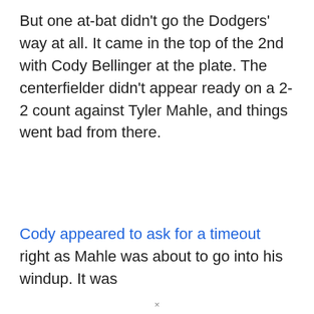But one at-bat didn't go the Dodgers' way at all. It came in the top of the 2nd with Cody Bellinger at the plate. The centerfielder didn't appear ready on a 2-2 count against Tyler Mahle, and things went bad from there.
Cody appeared to ask for a timeout right as Mahle was about to go into his windup. It was